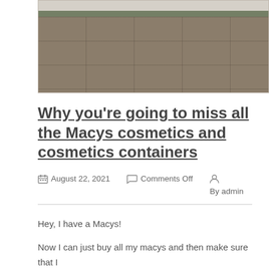[Figure (photo): Interior photo of an old room or corridor showing a worn stone or concrete tiled floor with cracks, whitewashed walls with a dark green stripe near the floor, and a dim corridor receding into the background.]
Why you're going to miss all the Macys cosmetics and cosmetics containers
August 22, 2021   Comments Off   By admin
Hey, I have a Macys!
Now I can just buy all my macys and then make sure that I